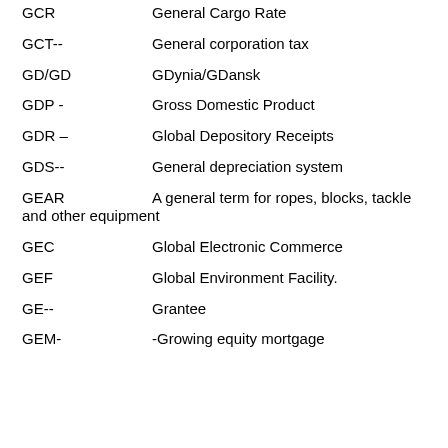GCR   General Cargo Rate
GCT--   General corporation tax
GD/GD   GDynia/GDansk
GDP -   Gross Domestic Product
GDR –   Global Depository Receipts
GDS--   General depreciation system
GEAR   A general term for ropes, blocks, tackle and other equipment
GEC   Global Electronic Commerce
GEF   Global Environment Facility.
GE--   Grantee
GEM-   -Growing equity mortgage